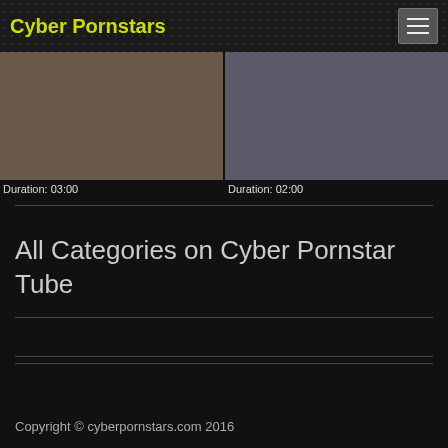Cyber Pornstars
[Figure (photo): Two thumbnail images side by side. Left thumbnail shows people on a desk. Right thumbnail shows a cheerleader and a person in a classroom. Duration labels below each: 03:00 and 02:00.]
Duration: 03:00
Duration: 02:00
All Categories on Cyber Pornstar Tube
Copyright © cyberpornstars.com 2016